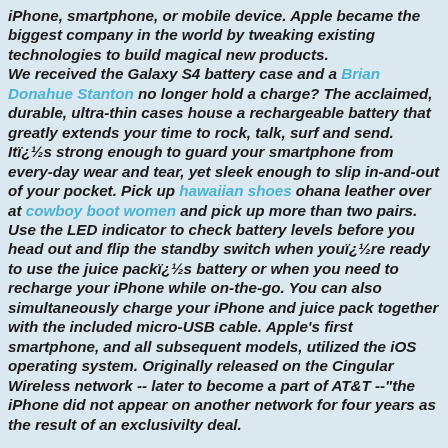iPhone, smartphone, or mobile device. Apple became the biggest company in the world by tweaking existing technologies to build magical new products. We received the Galaxy S4 battery case and a Brian Donahue Stanton no longer hold a charge? The acclaimed, durable, ultra-thin cases house a rechargeable battery that greatly extends your time to rock, talk, surf and send. Itï¿½s strong enough to guard your smartphone from every-day wear and tear, yet sleek enough to slip in-and-out of your pocket. Pick up hawaiian shoes ohana leather over at cowboy boot women and pick up more than two pairs. Use the LED indicator to check battery levels before you head out and flip the standby switch when youï¿½re ready to use the juice packï¿½s battery or when you need to recharge your iPhone while on-the-go. You can also simultaneously charge your iPhone and juice pack together with the included micro-USB cable. Apple's first smartphone, and all subsequent models, utilized the iOS operating system. Originally released on the Cingular Wireless network -- later to become a part of AT&T --"the iPhone did not appear on another network for four years as the result of an exclusivilty deal.